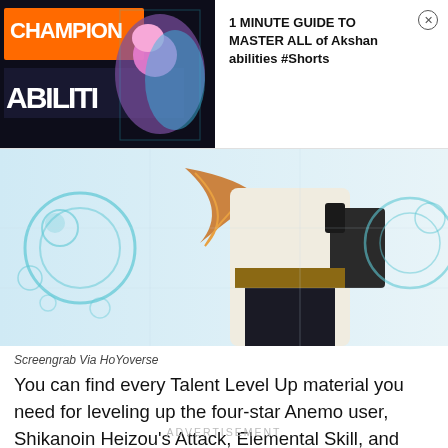[Figure (screenshot): YouTube Shorts ad thumbnail showing a game character guide titled 'Champion Abilities' with colorful game art]
1 MINUTE GUIDE TO MASTER ALL of Akshan abilities #Shorts
[Figure (screenshot): Game screenshot showing Shikanoin Heizou character art with teal circular patterns, from HoYoverse]
Screengrab Via HoYoverse
You can find every Talent Level Up material you need for leveling up the four-star Anemo user, Shikanoin Heizou's Attack, Elemental Skill, and Elemental Burst talents, down below:
ADVERTISEMENT